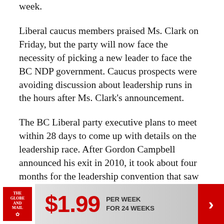week.
Liberal caucus members praised Ms. Clark on Friday, but the party will now face the necessity of picking a new leader to face the BC NDP government. Caucus prospects were avoiding discussion about leadership runs in the hours after Ms. Clark's announcement.
The BC Liberal party executive plans to meet within 28 days to come up with details on the leadership race. After Gordon Campbell announced his exit in 2010, it took about four months for the leadership convention that saw Ms. Clark become leader. The BC legislature is expected to resume sitting in
[Figure (other): Advertisement banner for The Globe and Mail subscription: $1.99 per week for 24 weeks]